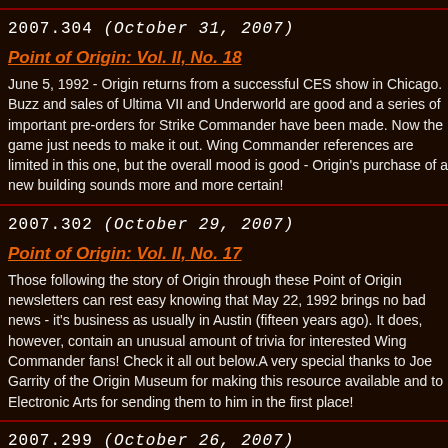2007.304 (October 31, 2007)
Point of Origin: Vol. II, No. 18
June 5, 1992 - Origin returns from a successful CES show in Chicago. Buzz and sales of Ultima VII and Underworld are good and a series of important pre-orders for Strike Commander have been made. Now the game just needs to make it out. Wing Commander references are limited in this one, but the overall mood is good - Origin's purchase of a new building sounds more and more certain!
2007.302 (October 29, 2007)
Point of Origin: Vol. II, No. 17
Those following the story of Origin through these Point of Origin newsletters can rest easy knowing that May 22, 1992 brings no bad news - it's business as usually in Austin (fifteen years ago). It does, however, contain an unusual amount of trivia for interested Wing Commander fans! Check it all out below.A very special thanks to Joe Garrity of the Origin Museum for making this resource available and to Electronic Arts for sending them to him in the first place!
2007.299 (October 26, 2007)
Point of Origin: Vol. II, No. 16
Issue size on the rise, Wing Commander on the decline... May 8, 19